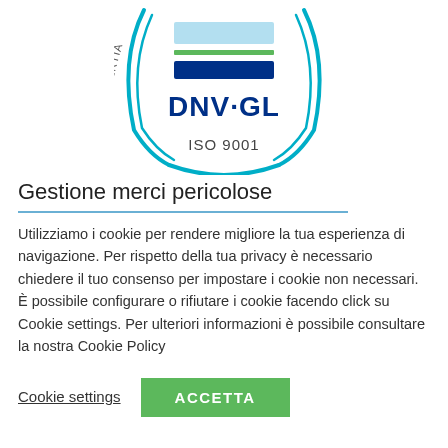[Figure (logo): DNV-GL ISO 9001 certification logo — a circular shield shape with cyan arcs, a light blue rectangle, a green line, a dark blue rectangle, text 'DNV·GL' in dark blue, and text 'ISO 9001' below, with partial text 'CERTIA' and 'UALITÀ' on the sides.]
Gestione merci pericolose
Utilizziamo i cookie per rendere migliore la tua esperienza di navigazione. Per rispetto della tua privacy è necessario chiedere il tuo consenso per impostare i cookie non necessari. È possibile configurare o rifiutare i cookie facendo click su Cookie settings. Per ulteriori informazioni è possibile consultare la nostra Cookie Policy
Cookie settings
ACCETTA